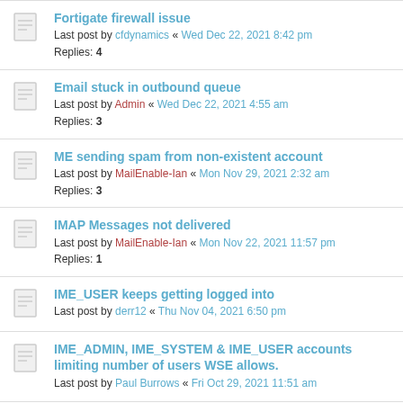Fortigate firewall issue
Last post by cfdynamics « Wed Dec 22, 2021 8:42 pm
Replies: 4
Email stuck in outbound queue
Last post by Admin « Wed Dec 22, 2021 4:55 am
Replies: 3
ME sending spam from non-existent account
Last post by MailEnable-Ian « Mon Nov 29, 2021 2:32 am
Replies: 3
IMAP Messages not delivered
Last post by MailEnable-Ian « Mon Nov 22, 2021 11:57 pm
Replies: 1
IME_USER keeps getting logged into
Last post by derr12 « Thu Nov 04, 2021 6:50 pm
IME_ADMIN, IME_SYSTEM & IME_USER accounts limiting number of users WSE allows.
Last post by Paul Burrows « Fri Oct 29, 2021 11:51 am